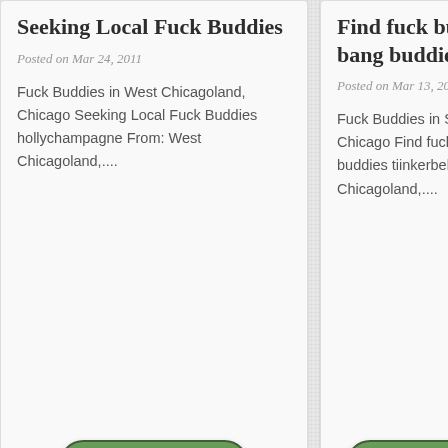Seeking Local Fuck Buddies
Posted on Mar 24, 2011
Fuck Buddies in West Chicagoland, Chicago Seeking Local Fuck Buddies hollychampagne From: West Chicagoland,...
Find fuck bu... bang buddie...
Posted on Mar 13, 20...
Fuck Buddies in S... Chicago Find fuck buddies tiinkerbel... Chicagoland,...